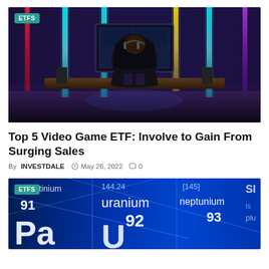[Figure (photo): Person sitting in a gaming chair from behind, facing multiple monitors in a dark room with colorful neon vertical light strips in purple, blue, yellow, and red tones.]
Top 5 Video Game ETF: Involve to Gain From Surging Sales
By INVESTDALE  May 26, 2022  0
[Figure (photo): Close-up of a periodic table display showing elements: protactinium (91, Pa), uranium (92, U), neptunium (93) with blue glowing background and numbers 144.24 and [145] visible.]